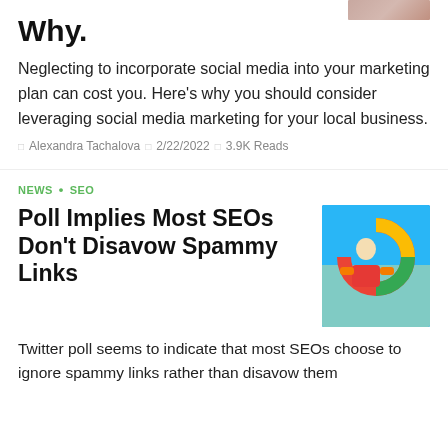Why.
[Figure (photo): Partial image visible at top right corner]
Neglecting to incorporate social media into your marketing plan can cost you. Here’s why you should consider leveraging social media marketing for your local business.
□  Alexandra Tachalova  □  2/22/2022  □  3.9K Reads
NEWS · SEO
Poll Implies Most SEOs Don’t Disavow Spammy Links
[Figure (photo): Man in yellow jacket laughing in front of Google logo]
Twitter poll seems to indicate that most SEOs choose to ignore spammy links rather than disavow them